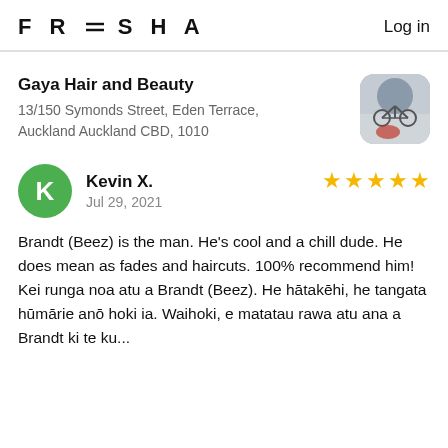FRESHA   Log in
Gaya Hair and Beauty
13/150 Symonds Street, Eden Terrace, Auckland Auckland CBD, 1010
[Figure (photo): Thumbnail photo of a bicycle and outdoor scene, used as salon profile image]
Kevin X.
Jul 29, 2021
5 stars
Brandt (Beez) is the man. He's cool and a chill dude. He does mean as fades and haircuts. 100% recommend him! Kei runga noa atu a Brandt (Beez). He hātakēhi, he tangata hūmārie anō hoki ia. Waihoki, e matatau rawa atu ana a Brandt ki te ku...